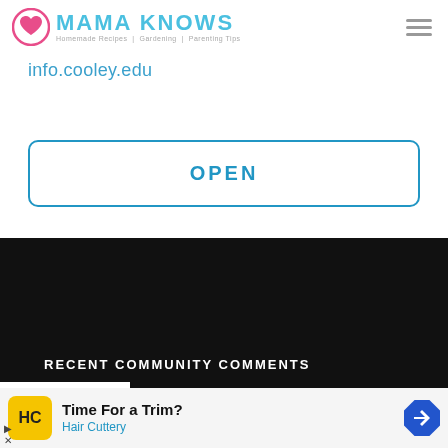Mama Knows — Homemade Recipes | Gardening | Parenting Tips
info.cooley.edu
OPEN
RECENT COMMUNITY COMMENTS
[Figure (screenshot): Advertisement for Hair Cuttery: Time For a Trim? with logo and directional arrow icon]